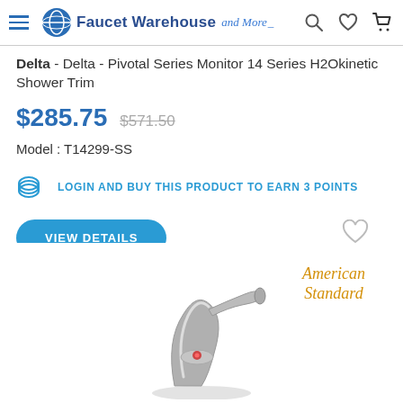Faucet Warehouse and More
Delta - Delta - Pivotal Series Monitor 14 Series H2Okinetic Shower Trim
$285.75  $571.50
Model : T14299-SS
LOGIN AND BUY THIS PRODUCT TO EARN 3 POINTS
VIEW DETAILS
[Figure (logo): American Standard cursive logo in gold/yellow]
[Figure (photo): Stainless steel faucet product photo, partially visible at bottom of page]